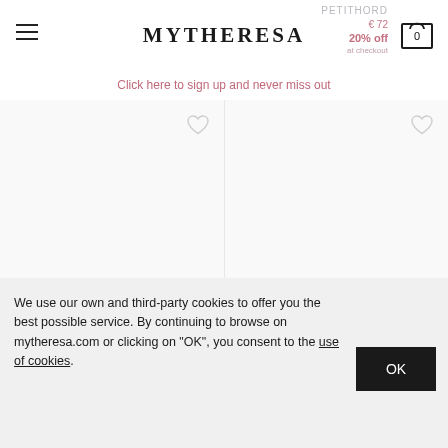MYTHERESA
Click here to sign up and never miss out
[Figure (other): Two product listing cells with wishlist heart icons, product images area (blank/loading), on a light gray background]
We use our own and third-party cookies to offer you the best possible service. By continuing to browse on mytheresa.com or clicking on "OK", you consent to the use of cookies.